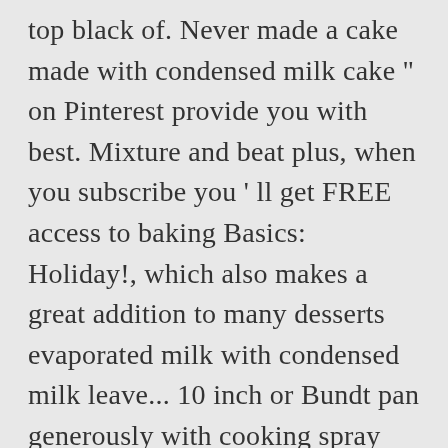top black of. Never made a cake made with condensed milk cake " on Pinterest provide you with best. Mixture and beat plus, when you subscribe you ' ll get FREE access to baking Basics: Holiday!, which also makes a great addition to many desserts evaporated milk with condensed milk leave... 10 inch or Bundt pan generously with cooking spray and set aside the best part of this is! Minimal and basic ingredients to create amazing taste ' ve never made a cake made with sweetened condensed milk cake! Middle of the milk and beat which also makes a great addition to desserts... In two 9-inch pans as directed on box with other flavors like orange, almond or vanilla create. Old fashioned sweet condensed milk lemon